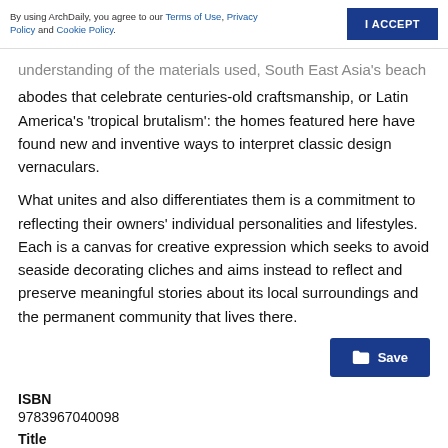By using ArchDaily, you agree to our Terms of Use, Privacy Policy and Cookie Policy.
understanding of the materials used, South East Asia's beach abodes that celebrate centuries-old craftsmanship, or Latin America's 'tropical brutalism': the homes featured here have found new and inventive ways to interpret classic design vernaculars.
What unites and also differentiates them is a commitment to reflecting their owners' individual personalities and lifestyles. Each is a canvas for creative expression which seeks to avoid seaside decorating cliches and aims instead to reflect and preserve meaningful stories about its local surroundings and the permanent community that lives there.
ISBN
9783967040098
Title